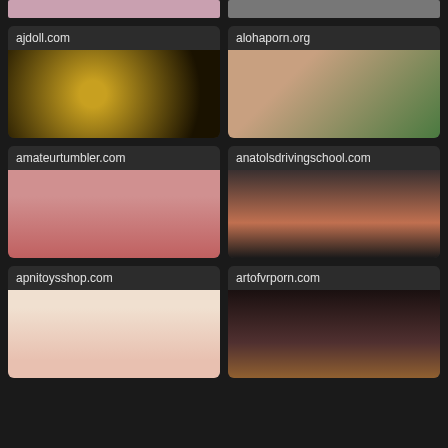[Figure (screenshot): Top strip: two partial thumbnail images cropped at top]
ajdoll.com
[Figure (photo): ajdoll.com thumbnail - dark blurry disco ball image]
alohaporn.org
[Figure (photo): alohaporn.org thumbnail - XPAWG.COM watermark]
amateurtumbler.com
[Figure (photo): amateurtumbler.com thumbnail]
anatolsdrivingschool.com
[Figure (photo): anatolsdrivingschool.com thumbnail]
apnitoysshop.com
[Figure (photo): apnitoysshop.com thumbnail - blonde woman]
artofvrporn.com
[Figure (photo): artofvrporn.com thumbnail - dark bedroom scene]